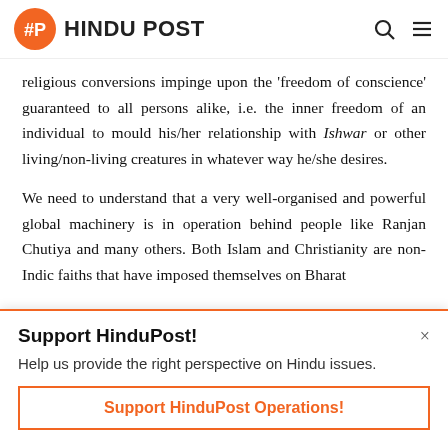HINDU POST
religious conversions impinge upon the 'freedom of conscience' guaranteed to all persons alike, i.e. the inner freedom of an individual to mould his/her relationship with Ishwar or other living/non-living creatures in whatever way he/she desires.
We need to understand that a very well-organised and powerful global machinery is in operation behind people like Ranjan Chutiya and many others. Both Islam and Christianity are non-Indic faiths that have imposed themselves on Bharat
Support HinduPost!
Help us provide the right perspective on Hindu issues.
Support HinduPost Operations!